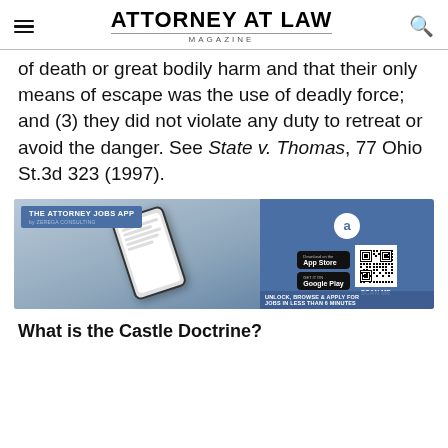ATTORNEY AT LAW MAGAZINE
of death or great bodily harm and that their only means of escape was the use of deadly force; and (3) they did not violate any duty to retreat or avoid the danger. See State v. Thomas, 77 Ohio St.3d 323 (1997).
[Figure (infographic): Advertisement for The Attorney Jobs App by Zerega Consulting, showing a person holding a smartphone. Right side has app logo, App Store and Google Play download buttons, a QR code labeled SCAN ME, and text: UNLOCK, BROWSE & APPLY FOR JOBS IN LESS THAN 6 MINUTES.]
What is the Castle Doctrine?